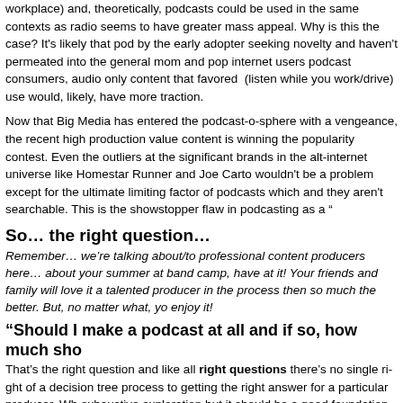workplace) and, theoretically, podcasts could be used in the same contexts as radio seems to have greater mass appeal. Why is this the case? Itâs likely that podcasts are still dominated by the early adopter seeking novelty and haven’t permeated into the general public. For mom and pop internet users podcast consumers, audio only content that favored a background (listen while you work/drive) use would, likely, have more traction.
Now that Big Media has entered the podcast-o-sphere with a vengeance, the recent high production value content is winning the popularity contest. Even the outliers at the top are significant brands in the alt-internet universe like Homestar Runner and Joe Carton. This wouldn’t be a problem except for the ultimate limiting factor of podcasts which is discoverability and they aren’t searchable. This is the showstopper flaw in podcasting as a “
So… the right question…
Remember… we’re talking about/to professional content producers here… if you want to podcast about your summer at band camp, have at it! Your friends and family will love it and if you become a talented producer in the process then so much the better. But, no matter what, you should enjoy it!
“Should I make a podcast at all and if so, how much sho
That’s the right question and like all right questions there’s no single right answer. It’s more of a decision tree process to getting the right answer for a particular producer. What follows isn’t an exhaustive exploration but it should be a good foundation.
Start with content. Assuming you have the rights to distribute downloadables ask yourself “is my content conducive to a podcast use-case?” If you make a news or public affairs radio show, as long as they can sell additional spots for the podcast, making a podcast is likely a no-brainer. If you have a show and you can create short segments that teach useful things. Put the clips o